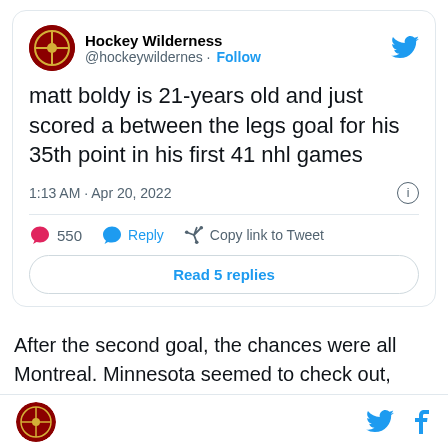[Figure (screenshot): Tweet card from Hockey Wilderness (@hockeywildernes) with Follow button and Twitter bird icon. Tweet text: 'matt boldy is 21-years old and just scored a between the legs goal for his 35th point in his first 41 nhl games'. Timestamp: 1:13 AM · Apr 20, 2022. Actions: 550 likes, Reply, Copy link to Tweet. Button: Read 5 replies.]
After the second goal, the chances were all Montreal. Minnesota seemed to check out, forcing Talbot to work much harder than he should've.
Hockey Wilderness logo, Twitter bird icon, Facebook f icon